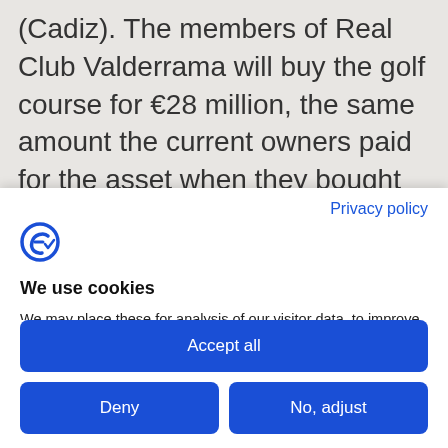(Cadiz). The members of Real Club Valderrama will buy the golf course for €28 million, the same amount the current owners paid for the asset when they bought it. Valderrama's members had initiated an arbitration process, but that will be suspended as a result of this
Privacy policy
[Figure (logo): Cookiebot logo icon — blue stylized letter C with a tick/check mark]
We use cookies
We may place these for analysis of our visitor data, to improve our website, show personalised content and to give you a great website experience. For more information about the cookies we use open the settings.
Accept all
Deny
No, adjust